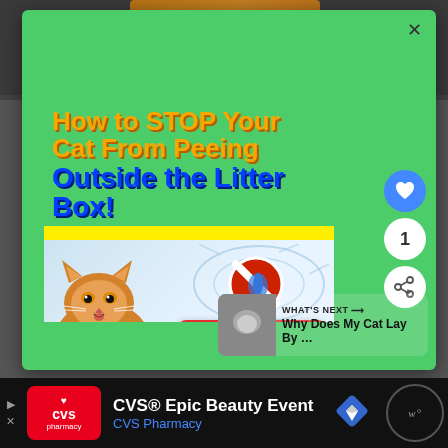[Figure (screenshot): Modal popup overlay on a green background showing an advertisement: 'How to STOP Your Cat From Peeing Outside the Litter Box!' with an orange tabby cat image, a no-symbol, and a red CLICK HERE button. Social interaction buttons (heart, like count '1', share) visible on right. 'WHAT'S NEXT' panel in bottom right. CVS Epic Beauty Event advertisement banner at the bottom.]